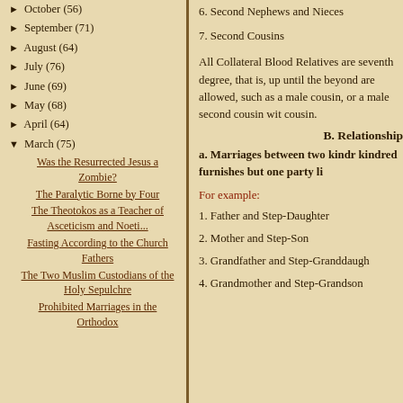► October (56)
► September (71)
► August (64)
► July (76)
► June (69)
► May (68)
► April (64)
▼ March (75)
Was the Resurrected Jesus a Zombie?
The Paralytic Borne by Four
The Theotokos as a Teacher of Asceticism and Noeti...
Fasting According to the Church Fathers
The Two Muslim Custodians of the Holy Sepulchre
Prohibited Marriages in the Orthodox
6. Second Nephews and Nieces
7. Second Cousins
All Collateral Blood Relatives are seventh degree, that is, up until the beyond are allowed, such as a male cousin, or a male second cousin with cousin.
B. Relationship
a. Marriages between two kindred furnishes but one party li
For example:
1. Father and Step-Daughter
2. Mother and Step-Son
3. Grandfather and Step-Granddaughter
4. Grandmother and Step-Grandson